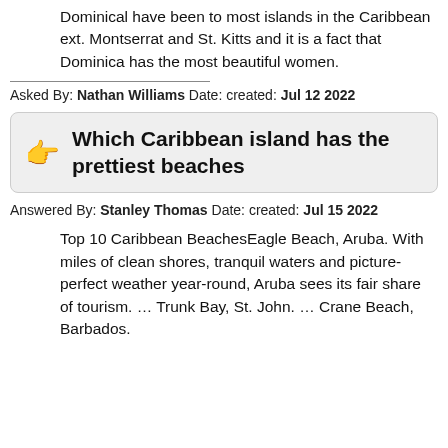Dominical have been to most islands in the Caribbean ext. Montserrat and St. Kitts and it is a fact that Dominica has the most beautiful women.
Asked By: Nathan Williams Date: created: Jul 12 2022
Which Caribbean island has the prettiest beaches
Answered By: Stanley Thomas Date: created: Jul 15 2022
Top 10 Caribbean BeachesEagle Beach, Aruba. With miles of clean shores, tranquil waters and picture-perfect weather year-round, Aruba sees its fair share of tourism. … Trunk Bay, St. John. … Crane Beach, Barbados.